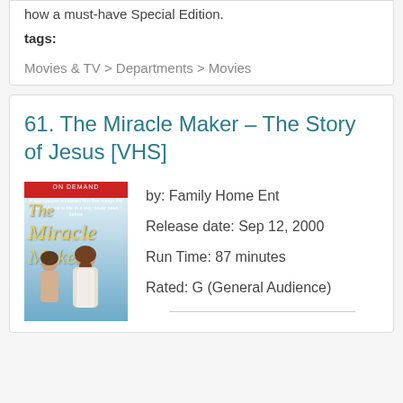how a must-have Special Edition.
tags:
Movies & TV > Departments > Movies
61. The Miracle Maker – The Story of Jesus [VHS]
[Figure (photo): VHS cover of The Miracle Maker showing two figures against a blue sky background with a red banner at top]
by: Family Home Ent
Release date: Sep 12, 2000
Run Time: 87 minutes
Rated: G (General Audience)